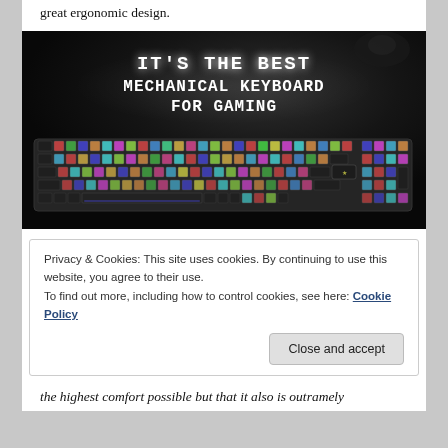great ergonomic design.
[Figure (photo): A mechanical gaming keyboard with RGB backlighting on a dark surface. Text overlay reads: IT'S THE BEST MECHANICAL KEYBOARD FOR GAMING]
Privacy & Cookies: This site uses cookies. By continuing to use this website, you agree to their use.
To find out more, including how to control cookies, see here: Cookie Policy
Close and accept
the highest comfort possible but that it also is outramely